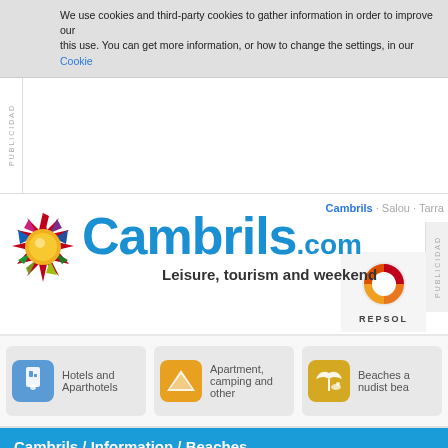We use cookies and third-party cookies to gather information in order to improve our this use. You can get more information, or how to change the settings, in our Cookie
[Figure (logo): Cambrils.com logo with colorful sun/star graphic and tagline 'Leisure, tourism and weekend']
Cambrils · Salou · Tarra
[Figure (logo): Repsol logo - orange and red circular emblem with REPSOL text below]
Hotels and Aparthotels
Apartment, camping and other
Beaches and nudist bea
Cambrils / Information / Beaches